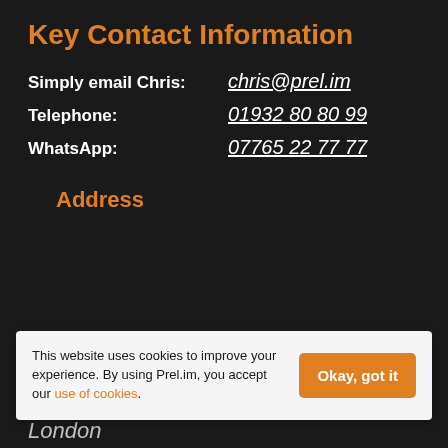Key Contact Information
Simply email Chris: chris@prel.im
Telephone: 01932 80 80 99
WhatsApp: 07765 22 77 77
Address
This website uses cookies to improve your experience. By using Prel.im, you accept our use of cookies.
London